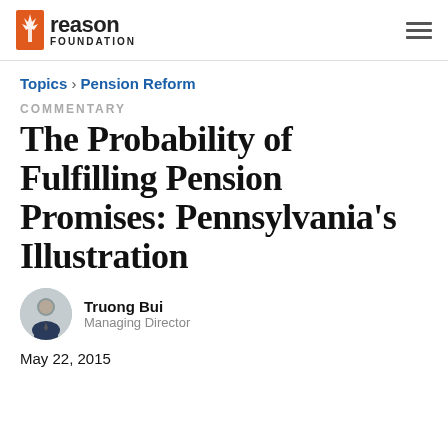Reason Foundation
Topics › Pension Reform
COMMENTARY
The Probability of Fulfilling Pension Promises: Pennsylvania's Illustration
Truong Bui
Managing Director
May 22, 2015